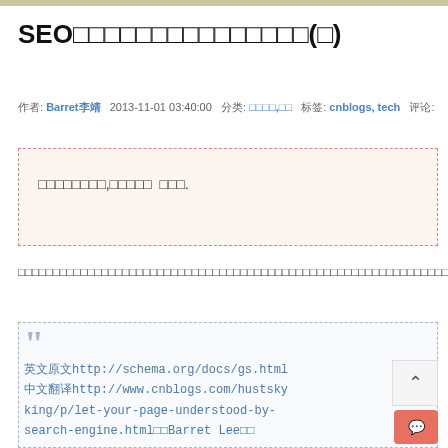SEO□□□□□□□□□□□□□□□(□)
作者: Barret李靖  2013-11-01 03:40:00  分类: □□□□,□□  标签: cnblogs, tech  评论:  阅读:
□□□□□□□□,□□□□□  □□□.
□□□□□□□□□□□□□□□□□□□□□□□□□□□□□□□□□□□□□□□□□□□□□□□□□□□□□□□□□□□□□□~
英文原文http://schema.org/docs/gs.html
中文翻译http://www.cnblogs.com/hustskyking/p/let-your-page-understood-by-search-engine.html□□Barret Lee□□